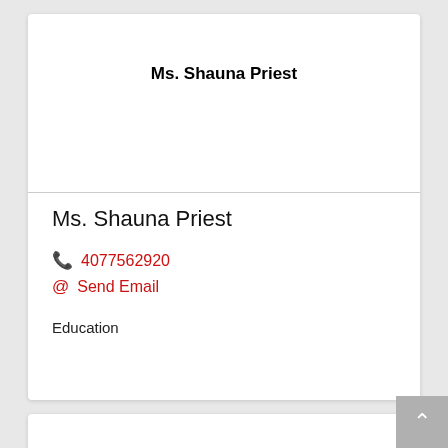Ms. Shauna Priest
Ms. Shauna Priest
4077562920
Send Email
Education
Johnson realty group